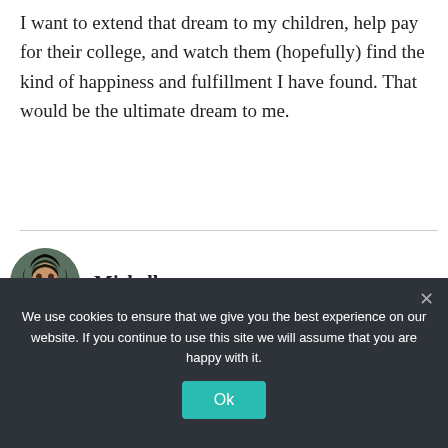I want to extend that dream to my children, help pay for their college, and watch them (hopefully) find the kind of happiness and fulfillment I have found. That would be the ultimate dream to me.
Michelle says:
[Figure (photo): Circular avatar photo of Michelle, a woman with curly hair, outdoors with green foliage background]
Holly, I love this post. Articles like the one that
We use cookies to ensure that we give you the best experience on our website. If you continue to use this site we will assume that you are happy with it.